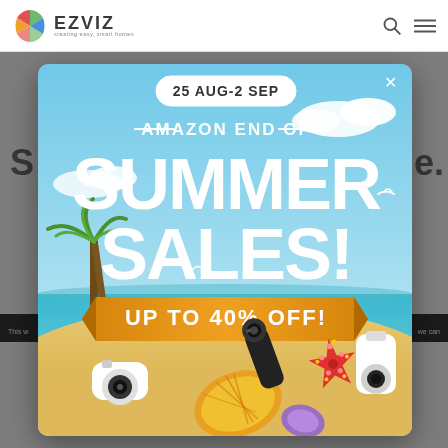EZVIZ — creating easy, smart homes
[Figure (illustration): EZVIZ Amazon End of Summer Sales promotional popup banner showing beach scene with security cameras, starfish, shells, palm trees. Text: '25 AUG-2 SEP — AMAZON END OF SUMMER SALES! UP TO 40% OFF!']